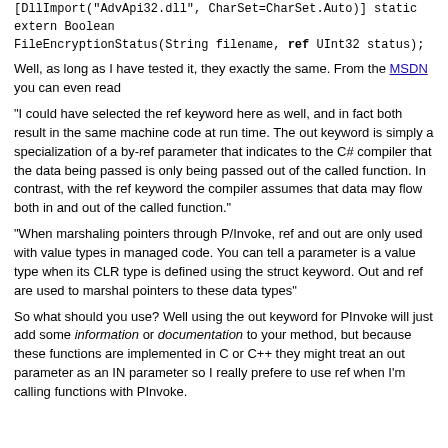[DllImport("AdvApi32.dll", CharSet=CharSet.Auto)] static extern Boolean FileEncryptionStatus(String filename, ref UInt32 status);
Well, as long as I have tested it, they exactly the same. From the MSDN you can even read
“I could have selected the ref keyword here as well, and in fact both result in the same machine code at run time. The out keyword is simply a specialization of a by-ref parameter that indicates to the C# compiler that the data being passed is only being passed out of the called function. In contrast, with the ref keyword the compiler assumes that data may flow both in and out of the called function.”
“When marshaling pointers through P/Invoke, ref and out are only used with value types in managed code. You can tell a parameter is a value type when its CLR type is defined using the struct keyword. Out and ref are used to marshal pointers to these data types”
So what should you use? Well using the out keyword for PInvoke will just add some information or documentation to your method, but because these functions are implemented in C or C++ they might treat an out parameter as an IN parameter so I really prefere to use ref when I'm calling functions with PInvoke.